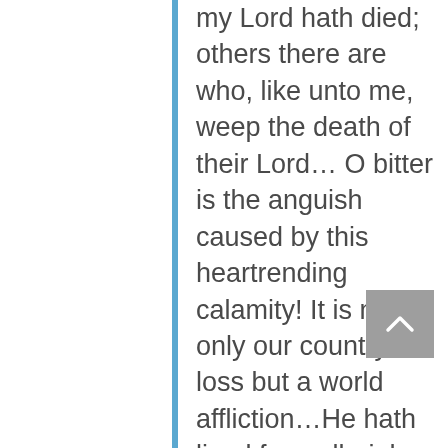my Lord hath died; others there are who, like unto me, weep the death of their Lord… O bitter is the anguish caused by this heartrending calamity! It is not only our country's loss but a world affliction…He hath lived for well-nigh eighty years the life of the Messengers and Apostles of God. He hath educated the souls of men, hath been benevolent unto them, hath led them to the Way of Truth. Thus he raised his people to